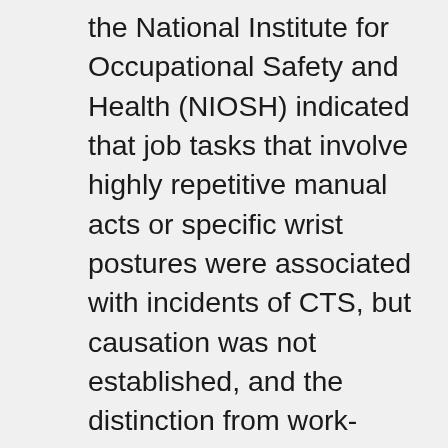the National Institute for Occupational Safety and Health (NIOSH) indicated that job tasks that involve highly repetitive manual acts or specific wrist postures were associated with incidents of CTS, but causation was not established, and the distinction from work-related arm pains that are not carpal tunnel syndrome was not clear. It has been proposed that repetitive use of the arm can affect the biomechanics of the upper limb or cause damage to tissues. It has also been proposed that postural and spinal assessment along with ergonomic assessments should be included in the overall determination of the condition. Addressing these factors has been found to improve comfort in some studies. A 2010 survey by NIOSH showed that 2/3 of the 5 million carpal tunnel cases in the US that year